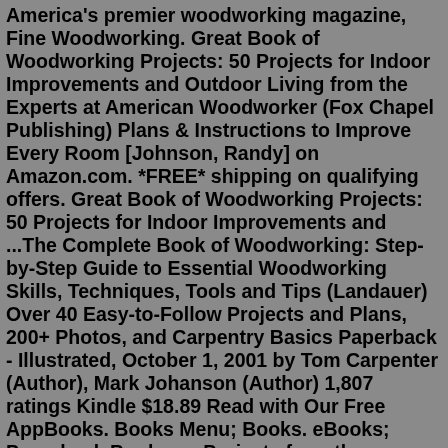America's premier woodworking magazine, Fine Woodworking. Great Book of Woodworking Projects: 50 Projects for Indoor Improvements and Outdoor Living from the Experts at American Woodworker (Fox Chapel Publishing) Plans & Instructions to Improve Every Room [Johnson, Randy] on Amazon.com. *FREE* shipping on qualifying offers. Great Book of Woodworking Projects: 50 Projects for Indoor Improvements and ...The Complete Book of Woodworking: Step-by-Step Guide to Essential Woodworking Skills, Techniques, Tools and Tips (Landauer) Over 40 Easy-to-Follow Projects and Plans, 200+ Photos, and Carpentry Basics Paperback - Illustrated, October 1, 2001 by Tom Carpenter (Author), Mark Johanson (Author) 1,807 ratings Kindle $18.89 Read with Our Free AppBooks. Books Menu; Books. eBooks; Paperback Books; ... Projects from the Minimalist Woodworker. ... The Guide to Woodworking with Kids. Regular price $19.95 Sale price Find many great new & used options and get the best deals for Woodworking Projects Yearbook 1992